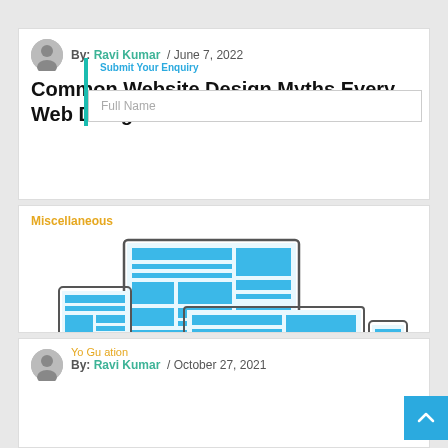By: Ravi Kumar / June 7, 2022
Common Website Design Myths Every Web Designer Should Know
Submit Your Enquiry
Full Name
Miscellaneous
[Figure (infographic): Responsive web design illustration showing a desktop monitor, tablet, and mobile phone with blue layout blocks, with text: JOIN ADVANCED WEB DESIGN & DEVELOPMENT CLASSES IN ROHINI, www.web-development-institute.com]
By: Ravi Kumar / October 27, 2021